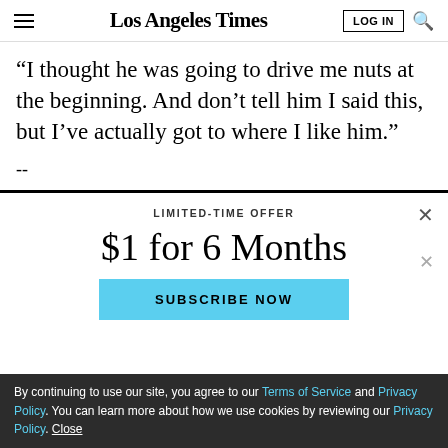Los Angeles Times | LOG IN | Search
“I thought he was going to drive me nuts at the beginning. And don’t tell him I said this, but I’ve actually got to where I like him.”
--
LIMITED-TIME OFFER
$1 for 6 Months
SUBSCRIBE NOW
By continuing to use our site, you agree to our Terms of Service and Privacy Policy. You can learn more about how we use cookies by reviewing our Privacy Policy. Close